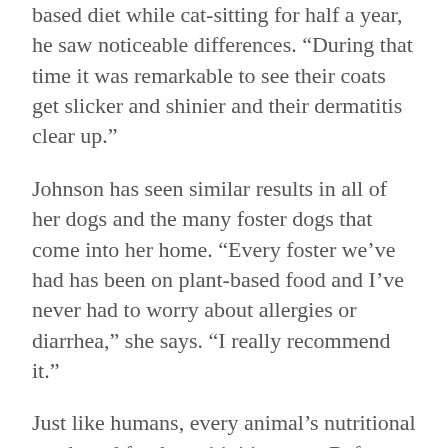based diet while cat-sitting for half a year, he saw noticeable differences. “During that time it was remarkable to see their coats get slicker and shinier and their dermatitis clear up.”
Johnson has seen similar results in all of her dogs and the many foster dogs that come into her home. “Every foster we’ve had has been on plant-based food and I’ve never had to worry about allergies or diarrhea,” she says. “I really recommend it.”
Just like humans, every animal’s nutritional needs and food sensitivities vary. Before starting any new meal plan for your pet, consult a veterinarian to ensure you do so safely. If you get the green light, here are some easy, make-at-home recipes to try.
5 plant-based pet food recipes